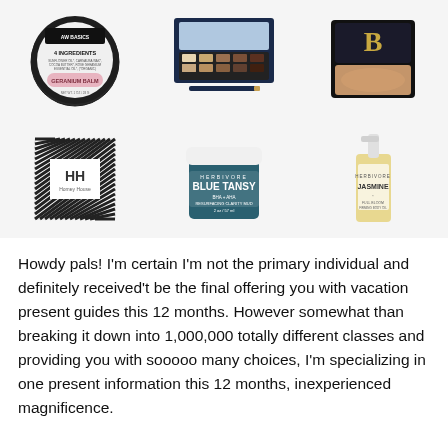[Figure (photo): Grid of 6 beauty/skincare product photos: (top row) AW Basics 4 Ingredients Geranium Balm circular tin, an open eye shadow palette in navy case, a dark square compact powder; (bottom row) Homey House striped box with HH logo, Herbivore Blue Tansy BHA+AHA Resurfacing Clarity Mask jar, Herbivore Jasmine oil bottle]
Howdy pals! I'm certain I'm not the primary individual and definitely received't be the final offering you with vacation present guides this 12 months. However somewhat than breaking it down into 1,000,000 totally different classes and providing you with sooooo many choices, I'm specializing in one present information this 12 months, inexperienced magnificence.